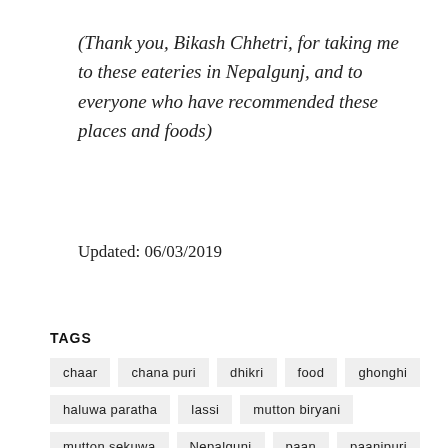(Thank you, Bikash Chhetri, for taking me to these eateries in Nepalgunj, and to everyone who have recommended these places and foods)
Updated: 06/03/2019
TAGS
chaar
chana puri
dhikri
food
ghonghi
haluwa paratha
lassi
mutton biryani
mutton sekuwa
Nepalgunj
paan
paanipuri
raabadi
Tharu